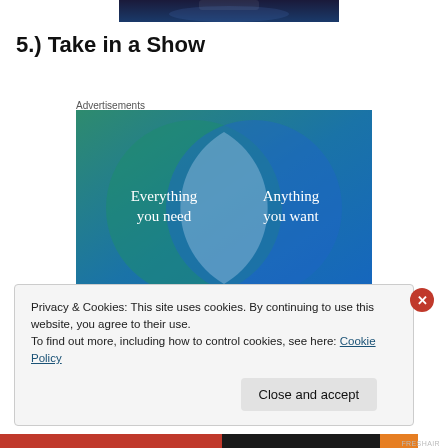[Figure (photo): Cropped top portion of a dark blue/purple background image, partially visible]
5.) Take in a Show
Advertisements
[Figure (infographic): Venn diagram on a blue-green gradient background showing two overlapping circles. Left circle (teal/green) labeled 'Everything you need'. Right circle (blue) labeled 'Anything you want'. Overlapping area is a lighter blue-white lens shape.]
Privacy & Cookies: This site uses cookies. By continuing to use this website, you agree to their use.
To find out more, including how to control cookies, see here: Cookie Policy
Close and accept